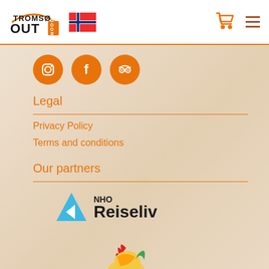[Figure (logo): Tromsø Outdoor logo with text and Norwegian flag in white header bar]
[Figure (logo): Three orange social media icons: Instagram, Facebook, TripAdvisor]
Legal
Privacy Policy
Terms and conditions
Our partners
[Figure (logo): NHO Reiseliv logo with blue triangle shape]
[Figure (logo): Colorful bird/rooster logo partially visible at bottom]